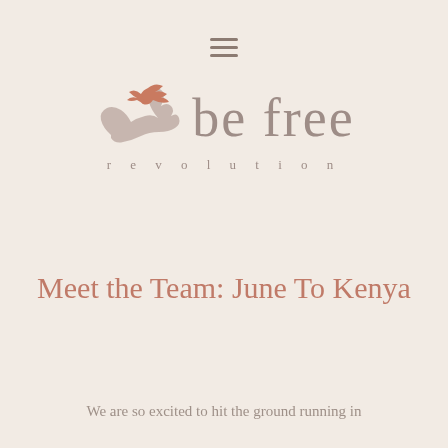[Figure (logo): Be Free Revolution logo with a bird/dove and hand silhouette in terracotta/rose color, with 'be free' text in muted mauve and 'revolution' in smaller spaced letters below]
Meet the Team: June To Kenya
We are so excited to hit the ground running in